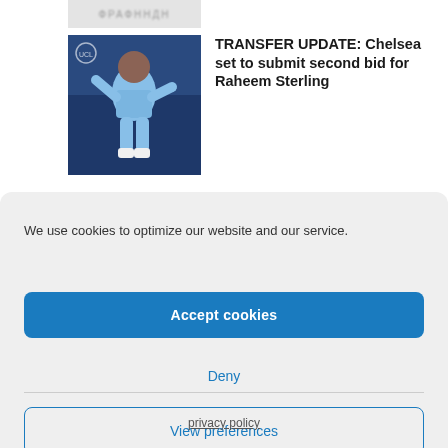[Figure (photo): Blurred/cropped banner text at top of page, appears to be a website header]
[Figure (photo): Photo of Raheem Sterling in a light blue Manchester City jersey celebrating on a football pitch at night]
TRANSFER UPDATE: Chelsea set to submit second bid for Raheem Sterling
We use cookies to optimize our website and our service.
Accept cookies
Deny
View preferences
privacy policy